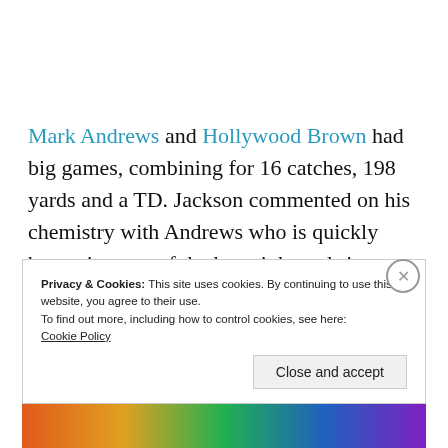Mark Andrews and Hollywood Brown had big games, combining for 16 catches, 198 yards and a TD. Jackson commented on his chemistry with Andrews who is quickly becoming one of the best tight ends in football.
Privacy & Cookies: This site uses cookies. By continuing to use this website, you agree to their use. To find out more, including how to control cookies, see here: Cookie Policy